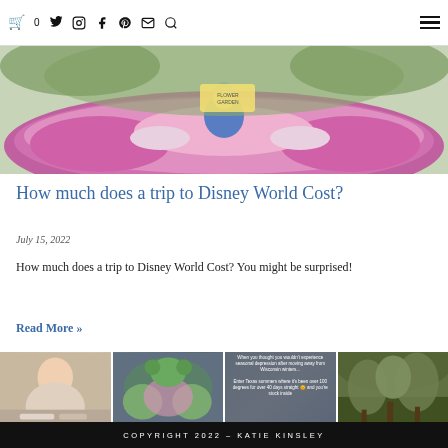Navigation bar with cart (0), Twitter, Instagram, Facebook, Pinterest, email, search icons and hamburger menu
[Figure (photo): Woman standing in a flower garden with pink and white flowers, Disney Flower Garden sign visible]
How much does a trip to Disney World Cost?
July 15, 2022
How much does a trip to Disney World Cost? You might be surprised!
Read More »
[Figure (photo): Four Instagram photo grid thumbnails: woman portrait, Disney topiaries with flowers, seasonal depression Texas summer text overlay, green trees/nature scene]
COPYRIGHT 2022 – KATIE KINSLEY